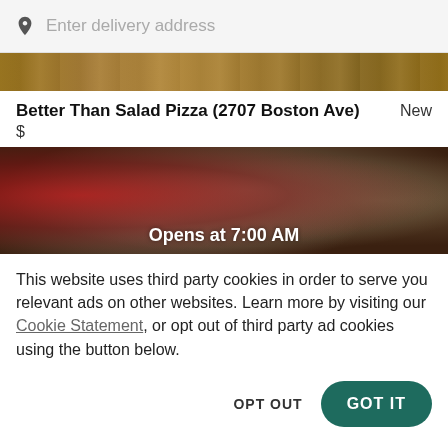Enter delivery address
[Figure (photo): Cropped top banner showing food/restaurant image in warm brown tones]
Better Than Salad Pizza (2707 Boston Ave)
New
$
[Figure (photo): Food photo showing bowls of salad and pizza dishes on a dark table, with text 'Opens at 7:00 AM' overlaid]
This website uses third party cookies in order to serve you relevant ads on other websites. Learn more by visiting our Cookie Statement, or opt out of third party ad cookies using the button below.
OPT OUT
GOT IT